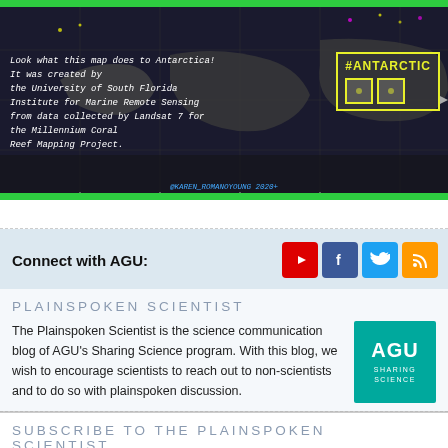[Figure (photo): Satellite map image showing Antarctica/world in dark colors with neon highlights. Text overlay reads: 'Look what this map does to Antarctica! It was created by the University of South Florida Institute for Marine Remote Sensing from data collected by Landsat 7 for the Millennium Coral Reef Mapping Project.' Hashtag #ANTARCTIC shown in yellow box. Photo credit @KAREN_ROMANOYOUNG 2020+]
Connect with AGU:
PLAINSPOKEN SCIENTIST
The Plainspoken Scientist is the science communication blog of AGU's Sharing Science program. With this blog, we wish to encourage scientists to reach out to non-scientists and to do so with plainspoken discussion.
SUBSCRIBE TO THE PLAINSPOKEN SCIENTIST